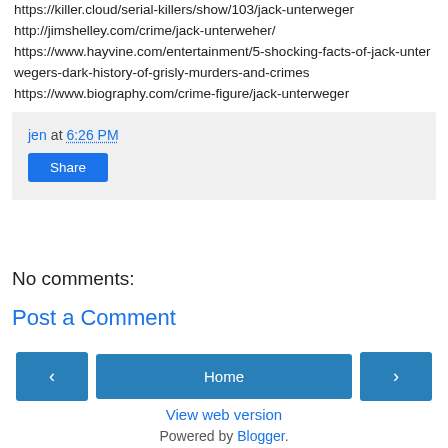https://killer.cloud/serial-killers/show/103/jack-unterweger
http://jimshelley.com/crime/jack-unterweher/
https://www.hayvine.com/entertainment/5-shocking-facts-of-jack-unterwegers-dark-history-of-grisly-murders-and-crimes
https://www.biography.com/crime-figure/jack-unterweger
jen at 6:26 PM
Share
No comments:
Post a Comment
‹
Home
›
View web version
Powered by Blogger.